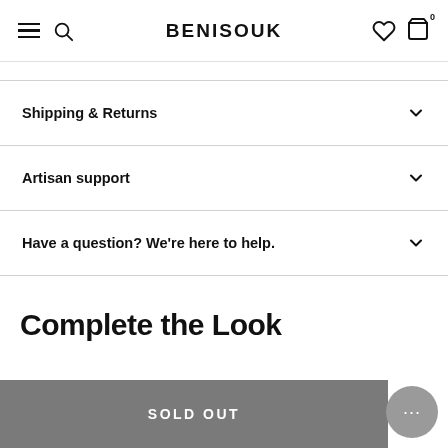BENISOUK
Shipping & Returns
Artisan support
Have a question? We're here to help.
Complete the Look
SOLD OUT